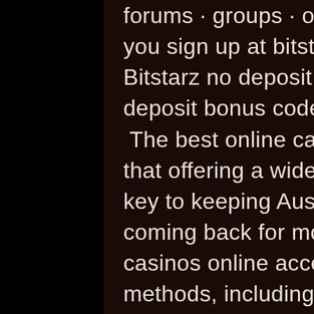forums · groups · our. The fun begins as soon as you sign up at bitstarz casino with the no deposit. Bitstarz no deposit sign up bonus, bitstarz no deposit bonus code co - doge
 The best online casino sites in Australia believe that offering a wide number of banking options is key to keeping Aussie gamblers happy and coming back for more. That's why these top casinos online accept a wide variety of payment methods, including Bitcoin, bitstarz sign up spins. Ultimately, other projects ' such as Ethereum ' may also offer extremely tempting benefits, bitstarz sign up freispiele. Online casinos may one day implement smart contracts to govern gambling activities such as deposits or payouts ' effectively 'decentralizing' some of the administration of day-to-day duties. Great user-interface Large amount of cryptos accepted, bitstarz sign up free spins. Betflip is a relatively new name in the crypto casino